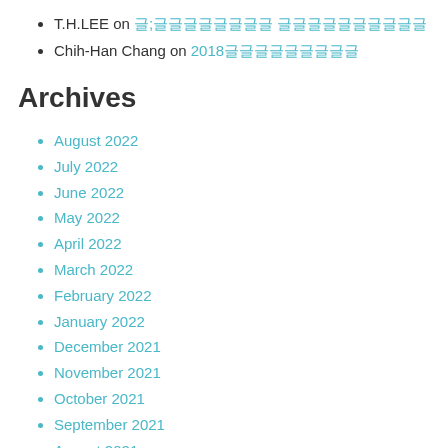T.H.LEE on 글;글글글글글글글글 글글글글글글글글글글
Chih-Han Chang on 2018글글글글글글글글글
Archives
August 2022
July 2022
June 2022
May 2022
April 2022
March 2022
February 2022
January 2022
December 2021
November 2021
October 2021
September 2021
August 2021
July 2021